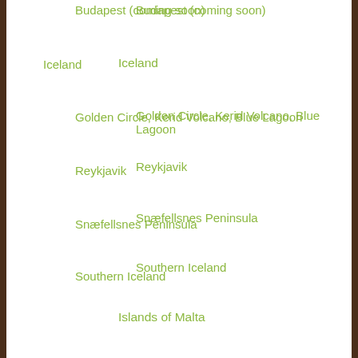Budapest (coming soon)
Iceland
Golden Circle, Kerid Volcano, Blue Lagoon
Reykjavik
Snæfellsnes Peninsula
Southern Iceland
Islands of Malta
Islands of Gozo and Comino
Valletta
Italy
Florence